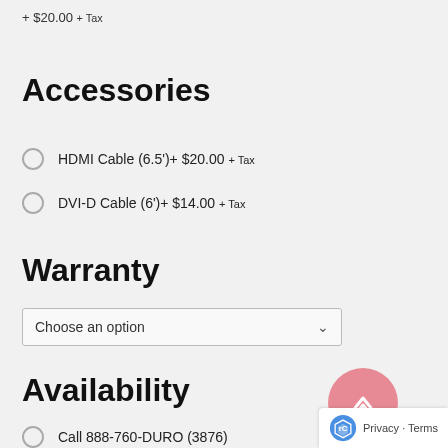+ $20.00 + Tax
Accessories
HDMI Cable (6.5')+ $20.00 + Tax
DVI-D Cable (6')+ $14.00 + Tax
Warranty
Choose an option
Availability
Call 888-760-DURO (3876)